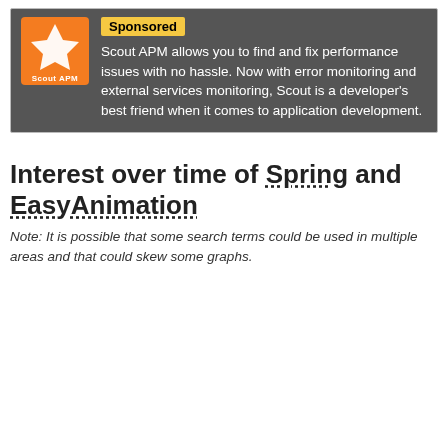[Figure (logo): Scout APM orange logo with white bird/star icon and text 'Scout APM']
Sponsored
Scout APM allows you to find and fix performance issues with no hassle. Now with error monitoring and external services monitoring, Scout is a developer's best friend when it comes to application development.
Interest over time of Spring and EasyAnimation
Note: It is possible that some search terms could be used in multiple areas and that could skew some graphs.